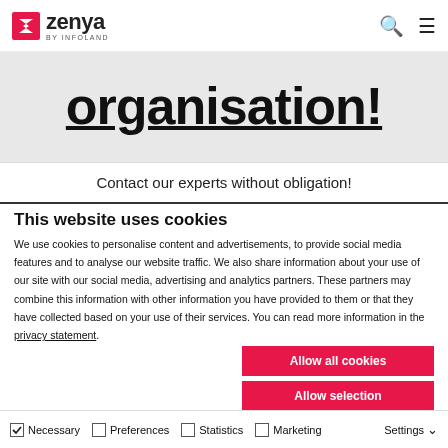Zenya by Infoland
organisation!
Contact our experts without obligation!
This website uses cookies
We use cookies to personalise content and advertisements, to provide social media features and to analyse our website traffic. We also share information about your use of our site with our social media, advertising and analytics partners. These partners may combine this information with other information you have provided to them or that they have collected based on your use of their services. You can read more information in the privacy statement.
Allow all cookies
Allow selection
Use necessary cookies only
Necessary  Preferences  Statistics  Marketing  Settings